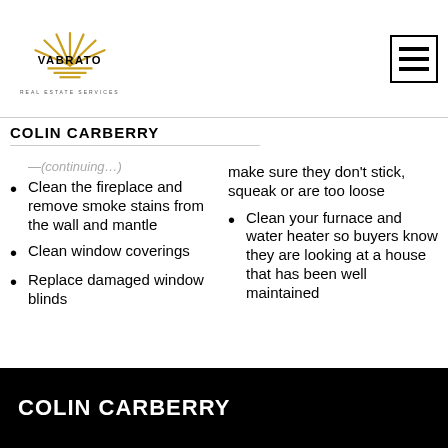VABRATO REAL ESTATE SERVICES
COLIN CARBERRY
Clean the fireplace and remove smoke stains from the wall and mantle
Clean window coverings
Replace damaged window blinds
make sure they don't stick, squeak or are too loose
Clean your furnace and water heater so buyers know they are looking at a house that has been well maintained
COLIN CARBERRY